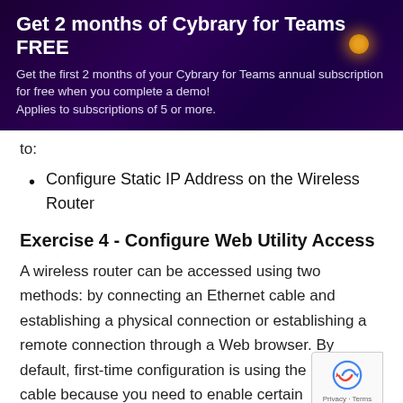[Figure (infographic): Cybrary for Teams promotional banner with purple/dark background and orange glow dot. Title: 'Get 2 months of Cybrary for Teams FREE'. Subtitle text about first 2 months of annual subscription free when completing a demo, applies to subscriptions of 5 or more.]
to:
Configure Static IP Address on the Wireless Router
Exercise 4 - Configure Web Utility Access
A wireless router can be accessed using two methods: by connecting an Ethernet cable and establishing a physical connection or establishing a remote connection through a Web browser. By default, first-time configuration is using the Ethernet cable because you need to enable certain